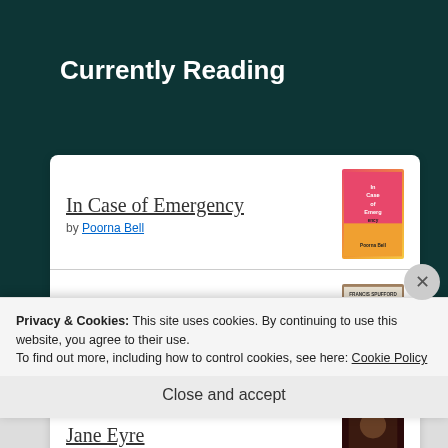Currently Reading
In Case of Emergency by Poorna Bell
Golden Hill by Francis Spufford
Jane Eyre by Charlotte Brontë
Privacy & Cookies: This site uses cookies. By continuing to use this website, you agree to their use.
To find out more, including how to control cookies, see here: Cookie Policy
Close and accept